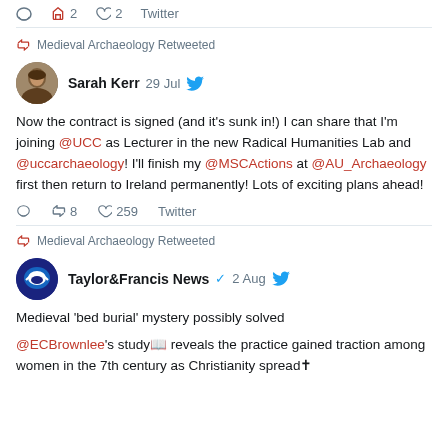2  Twitter
Medieval Archaeology Retweeted
Sarah Kerr  29 Jul
Now the contract is signed (and it's sunk in!) I can share that I'm joining @UCC as Lecturer in the new Radical Humanities Lab and @uccarchaeology! I'll finish my @MSCActions at @AU_Archaeology first then return to Ireland permanently! Lots of exciting plans ahead!
8  259  Twitter
Medieval Archaeology Retweeted
Taylor&Francis News  2 Aug
Medieval 'bed burial' mystery possibly solved
@ECBrownlee's study reveals the practice gained traction among women in the 7th century as Christianity spread✝